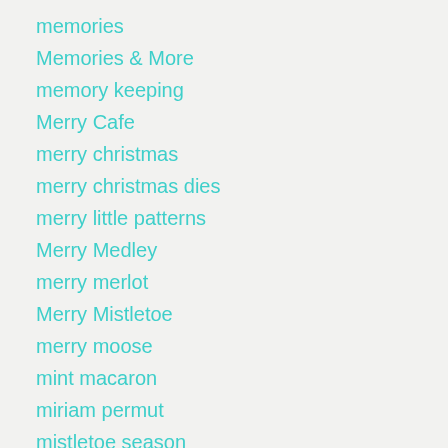memories
Memories & More
memory keeping
Merry Cafe
merry christmas
merry christmas dies
merry little patterns
Merry Medley
merry merlot
Merry Mistletoe
merry moose
mint macaron
miriam permut
mistletoe season